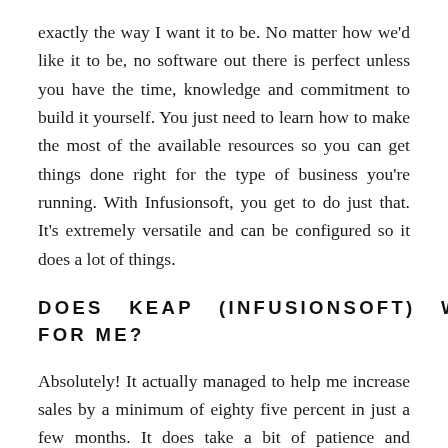exactly the way I want it to be. No matter how we'd like it to be, no software out there is perfect unless you have the time, knowledge and commitment to build it yourself. You just need to learn how to make the most of the available resources so you can get things done right for the type of business you're running. With Infusionsoft, you get to do just that. It's extremely versatile and can be configured so it does a lot of things.
DOES KEAP (INFUSIONSOFT) WORK FOR ME?
Absolutely! It actually managed to help me increase sales by a minimum of eighty five percent in just a few months. It does take a bit of patience and commitment to implement it in your business. To learn its ins and outs. To finally configure it for your needs and get things moving. But once